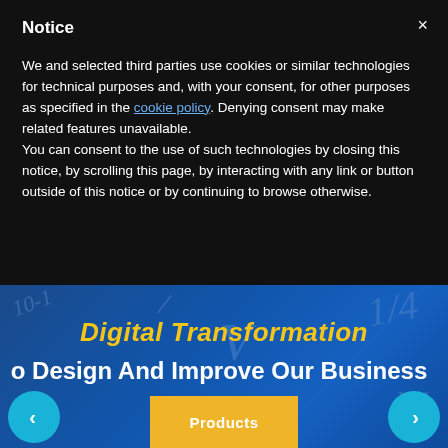Notice
We and selected third parties use cookies or similar technologies for technical purposes and, with your consent, for other purposes as specified in the cookie policy. Denying consent may make related features unavailable.
You can consent to the use of such technologies by closing this notice, by scrolling this page, by interacting with any link or button outside of this notice or by continuing to browse otherwise.
[Figure (screenshot): Blue background banner with mathematical symbols and formulas. Contains text 'Digital Transformation' in yellow italic bold and 'o Design And Improve Our Business' in white bold. Navigation arrows (left/right) in cyan circles and a yellow 'Products' button at the bottom center.]